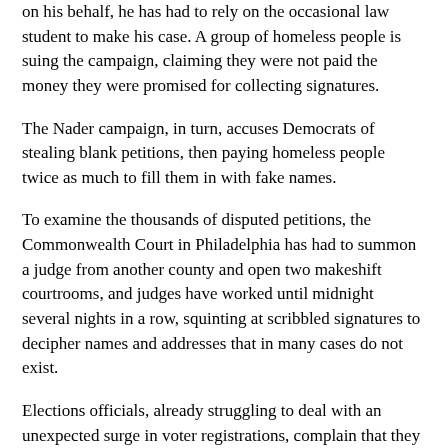on his behalf, he has had to rely on the occasional law student to make his case. A group of homeless people is suing the campaign, claiming they were not paid the money they were promised for collecting signatures.
The Nader campaign, in turn, accuses Democrats of stealing blank petitions, then paying homeless people twice as much to fill them in with fake names.
To examine the thousands of disputed petitions, the Commonwealth Court in Philadelphia has had to summon a judge from another county and open two makeshift courtrooms, and judges have worked until midnight several nights in a row, squinting at scribbled signatures to decipher names and addresses that in many cases do not exist.
Elections officials, already struggling to deal with an unexpected surge in voter registrations, complain that they are up against tight deadlines for printing and sending out absentee ballots.
Mr. Nader's campaign and the Democrats fighting him here